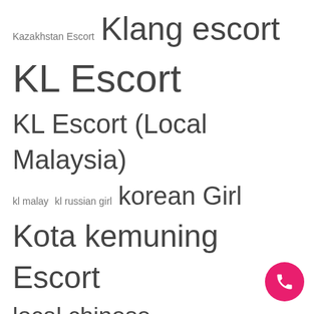Kazakhstan Escort  Klang escort
KL Escort
KL Escort (Local Malaysia)
kl malay  kl russian girl  korean Girl
Kota kemuning Escort
local chinese  Local Chinese Miri
Local Freelance Girl Escort
Local Malay  Malay freelance
model escort
Outcall Escort  outcall malay
outcall service
overnight service, pj girl